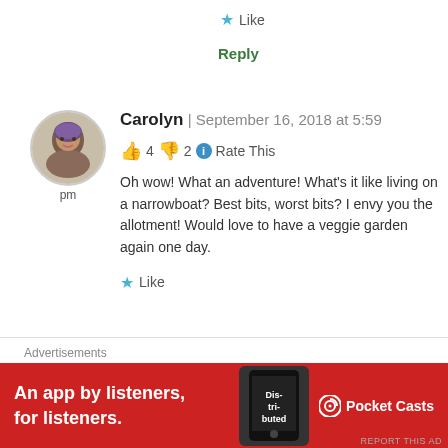★ Like
Reply
Carolyn | September 16, 2018 at 5:59 pm
👍 4 👎 2 ℹ Rate This
Oh wow! What an adventure! What's it like living on a narrowboat? Best bits, worst bits? I envy you the allotment! Would love to have a veggie garden again one day.
★ Like
Advertisements
[Figure (other): Pocket Casts advertisement banner: red background with text 'An app by listeners, for listeners.' and Pocket Casts logo, phone graphic with 'Distributed' text on screen]